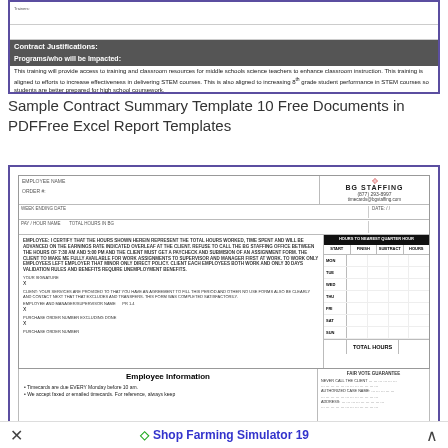[Figure (other): Top portion of a contract form with 'Contract Justifications' and 'Programs/who will be impacted' sections. Text describes training for middle schools science teachers for STEM courses.]
Sample Contract Summary Template 10 Free Documents in PDFFree Excel Report Templates
[Figure (other): BG Staffing employee timecard/contract form with logo, timesheet grid for hours by day (MON-SAT), employee information section with bullet points about timecards due every Monday before 10 am and faxed/emailed timecards.]
Shop Farming Simulator 19